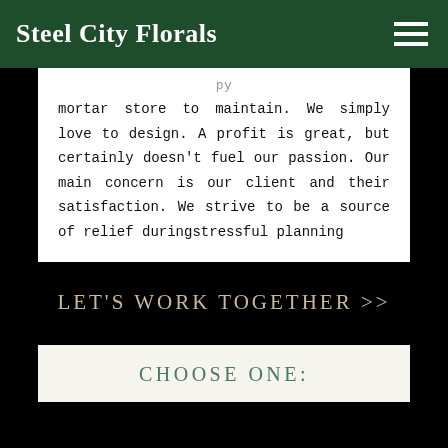Steel City Florals
mortar store to maintain. We simply love to design. A profit is great, but certainly doesn't fuel our passion. Our main concern is our client and their satisfaction. We strive to be a source of relief during stressful planning
LET'S WORK TOGETHER >>
CHOOSE ONE: